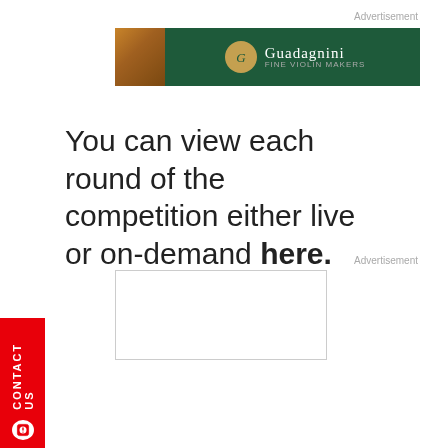Advertisement
[Figure (photo): Guadagnini advertisement banner with dark green background, violin image on the left, and Guadagnini logo/text in center]
You can view each round of the competition either live or on-demand here.
Advertisement
[Figure (other): Empty advertisement placeholder box with border]
CONTACT US